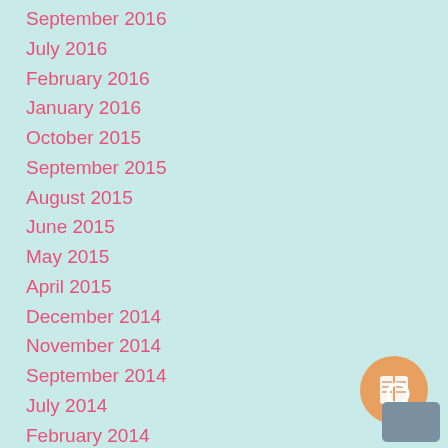September 2016
July 2016
February 2016
January 2016
October 2015
September 2015
August 2015
June 2015
May 2015
April 2015
December 2014
November 2014
September 2014
July 2014
February 2014
[Figure (illustration): Chat widget icon — orange circle with book/document icon and gray rounded rectangle overlay in bottom-right corner]